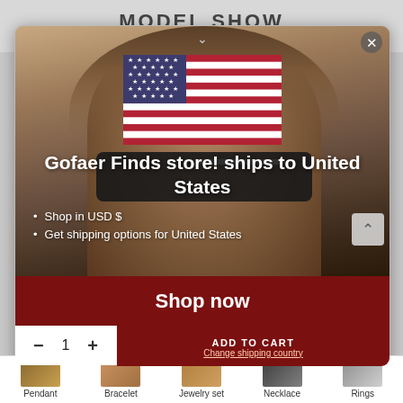MODEL SHOW
VOITHERA POLARIZED SUNGLASSES
[Figure (screenshot): Modal popup overlay on a product page showing a man wearing black sunglasses, with an American flag, shipping info, shop now button, and add to cart bar]
Gofaer Finds store! ships to United States
Shop in USD $
Get shipping options for United States
Shop now
ADD TO CART
Change shipping country
Pendant   Bracelet   Jewelry set   Necklace   Rings